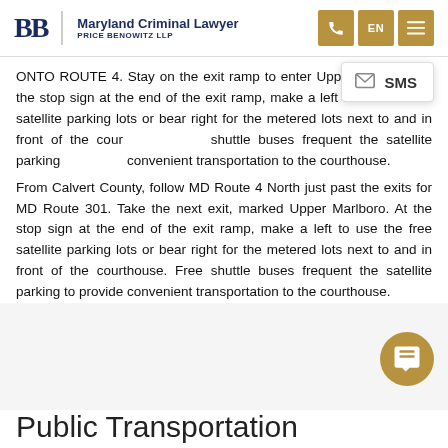Maryland Criminal Lawyer | Price Benowitz LLP
ONTO ROUTE 4. Stay on the exit ramp to enter Upper Marlboro. At the stop sign at the end of the exit ramp, make a left to use the free satellite parking lots or bear right for the metered lots next to and in front of the courthouse. Free shuttle buses frequent the satellite parking to provide convenient transportation to the courthouse.
From Calvert County, follow MD Route 4 North just past the exits for MD Route 301. Take the next exit, marked Upper Marlboro. At the stop sign at the end of the exit ramp, make a left to use the free satellite parking lots or bear right for the metered lots next to and in front of the courthouse. Free shuttle buses frequent the satellite parking to provide convenient transportation to the courthouse.
Public Transportation